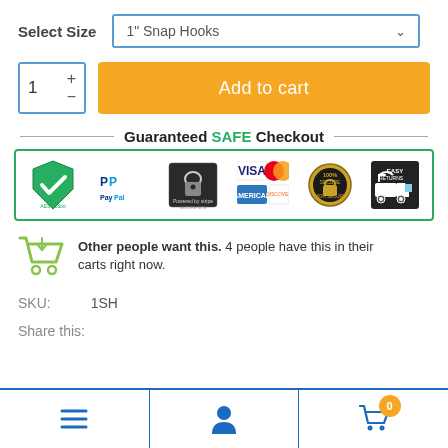Select Size   1" Snap Hooks
1   + -   Add to cart
[Figure (infographic): Guaranteed SAFE Checkout banner with payment icons: AES-256bit green shield, PayPal, Powered by stripe secure site, VISA, Mastercard, American Express, Discover, 100% Secure padlock badge, Easy Returns truck]
Other people want this. 4 people have this in their carts right now.
SKU:   1SH
Share this:
[Figure (infographic): Bottom navigation bar with hamburger menu icon, user/person icon, and shopping cart icon with badge showing 0]